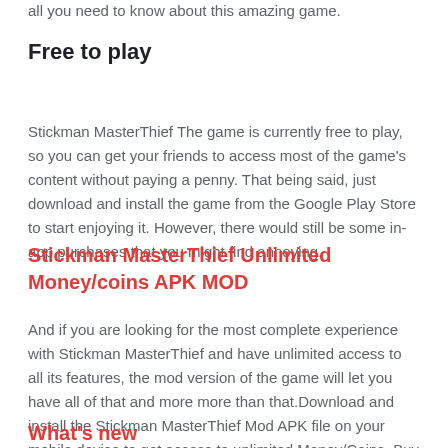all you need to know about this amazing game.
Free to play
Stickman MasterThief The game is currently free to play, so you can get your friends to access most of the game's content without paying a penny. That being said, just download and install the game from the Google Play Store to start enjoying it. However, there would still be some in-app purchases that you might find annoying.
Stickman MasterThief Unlimited Money/coins APK MOD
And if you are looking for the most complete experience with Stickman MasterThief and have unlimited access to all its features, the mod version of the game will let you have all of that and more more than that.Download and install the Stickman MasterThief Mod APK file on your mobile device to get access to unlimited Money/Coins. Buy whatever you want and run in styles.
What's new